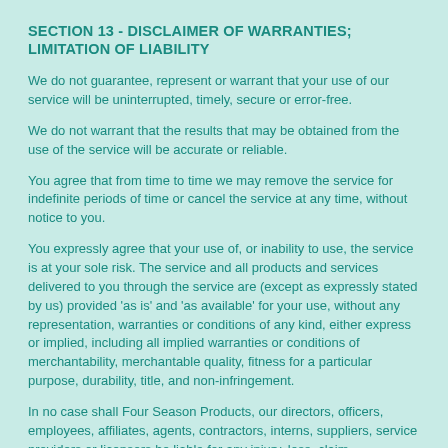SECTION 13 - DISCLAIMER OF WARRANTIES; LIMITATION OF LIABILITY
We do not guarantee, represent or warrant that your use of our service will be uninterrupted, timely, secure or error-free.
We do not warrant that the results that may be obtained from the use of the service will be accurate or reliable.
You agree that from time to time we may remove the service for indefinite periods of time or cancel the service at any time, without notice to you.
You expressly agree that your use of, or inability to use, the service is at your sole risk. The service and all products and services delivered to you through the service are (except as expressly stated by us) provided 'as is' and 'as available' for your use, without any representation, warranties or conditions of any kind, either express or implied, including all implied warranties or conditions of merchantability, merchantable quality, fitness for a particular purpose, durability, title, and non-infringement.
In no case shall Four Season Products, our directors, officers, employees, affiliates, agents, contractors, interns, suppliers, service providers or licensors be liable for any injury, loss, claim,